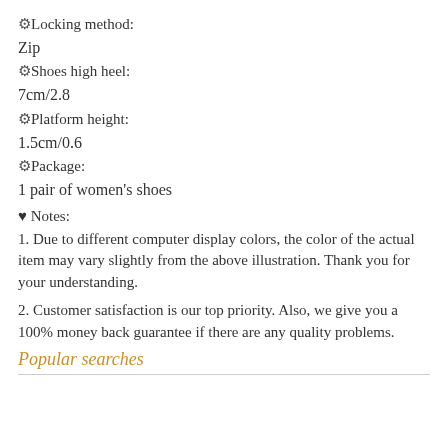⚙Locking method:
Zip
⚙Shoes high heel:
7cm/2.8
⚙Platform height:
1.5cm/0.6
⚙Package:
1 pair of women's shoes
♥ Notes:
1. Due to different computer display colors, the color of the actual item may vary slightly from the above illustration. Thank you for your understanding.
2. Customer satisfaction is our top priority. Also, we give you a 100% money back guarantee if there are any quality problems.
Popular searches